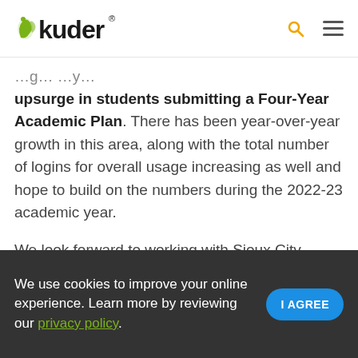kuder
upsurge in students submitting a Four-Year Academic Plan. There has been year-over-year growth in this area, along with the total number of logins for overall usage increasing as well and hope to build on the numbers during the 2022-23 academic year.
We look forward to working with Sioux City Community School District in the future to assist in their accomplishment of these goals, and to help every one of their students in their discovery and achievement of what they want to be
We use cookies to improve your online experience. Learn more by reviewing our privacy policy.